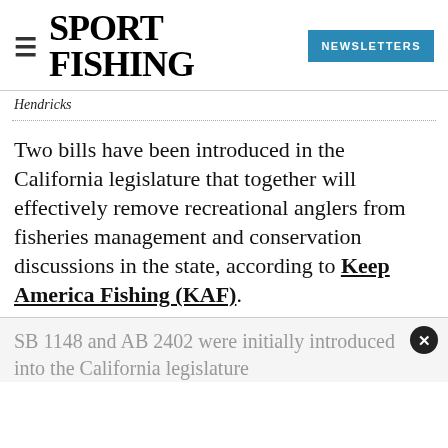SPORT FISHING | NEWSLETTERS
Hendricks
Two bills have been introduced in the California legislature that together will effectively remove recreational anglers from fisheries management and conservation discussions in the state, according to Keep America Fishing (KAF).
SB 1148 and AB 2402 were initially introduced into the California legislature